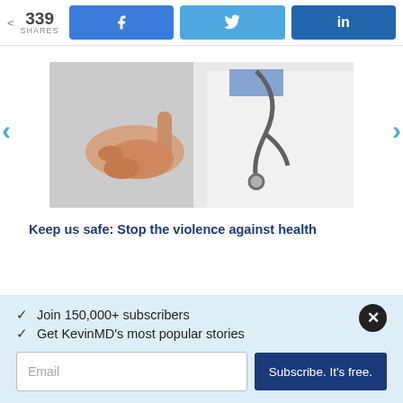339 SHARES
[Figure (photo): A hand pointing at a doctor in a white coat with a stethoscope]
Keep us safe: Stop the violence against health
✓  Join 150,000+ subscribers
✓  Get KevinMD's most popular stories
Email  |  Subscribe. It's free.